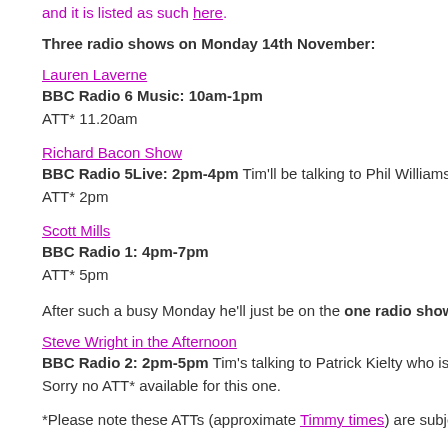and it is listed as such here.
Three radio shows on Monday 14th November:
Lauren Laverne
BBC Radio 6 Music: 10am-1pm
ATT* 11.20am
Richard Bacon Show
BBC Radio 5Live: 2pm-4pm Tim'll be talking to Phil Williams, who's sit
ATT* 2pm
Scott Mills
BBC Radio 1: 4pm-7pm
ATT* 5pm
After such a busy Monday he'll just be on the one radio show on Tuesd
Steve Wright in the Afternoon
BBC Radio 2: 2pm-5pm Tim's talking to Patrick Kielty who is sitting in f
Sorry no ATT* available for this one.
*Please note these ATTs (approximate Timmy times) are subject to chan